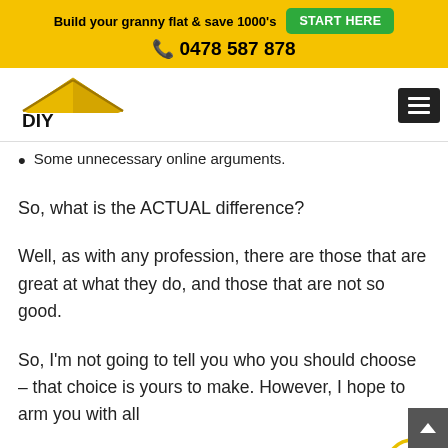Build your granny flat & save 1000's  START HERE  📞 0478 587 878
[Figure (logo): DIY Granny Flat logo with yellow house roof above bold black text DIY GRANNY FLAT]
Some unnecessary online arguments.
So, what is the ACTUAL difference?
Well, as with any profession, there are those that are great at what they do, and those that are not so good.
So, I'm not going to tell you who you should choose – that choice is yours to make. However, I hope to arm you with all